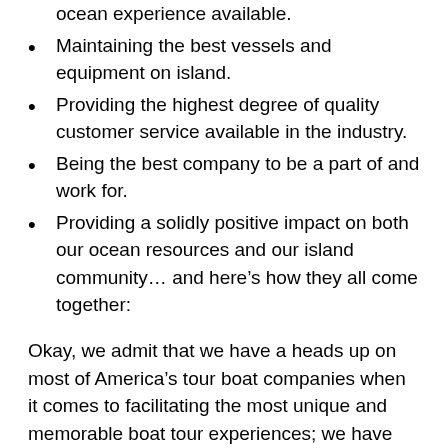ocean experience available.
Maintaining the best vessels and equipment on island.
Providing the highest degree of quality customer service available in the industry.
Being the best company to be a part of and work for.
Providing a solidly positive impact on both our ocean resources and our island community… and here's how they all come together:
Okay, we admit that we have a heads up on most of America's tour boat companies when it comes to facilitating the most unique and memorable boat tour experiences; we have the Napali Coast! The glorious, vibrant, tropical, wilderness-protected, teeming-with-wildlife, music-to-your-eyes Napali Coast. We have dramatic 4,000-foot sea cliffs, sea caves, sea arches, secluded beaches, vast emerald